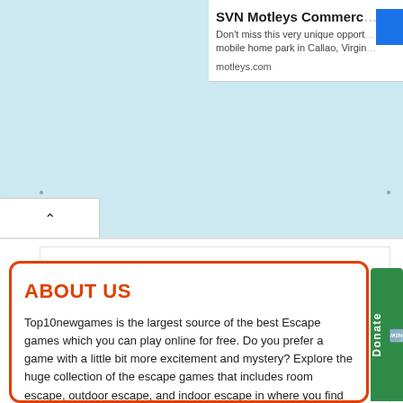[Figure (screenshot): Advertisement banner for SVN Motleys Commercial, partially visible on right side. Shows title 'SVN Motleys Commerc...', description text 'Don't miss this very unique oppor... mobile home park in Callao, Virgin...', domain 'motleys.com', and a blue button.]
[Figure (screenshot): Web page UI element: a white tab/accordion button with an upward chevron (^) arrow, indicating a collapsible panel. Below is a white content area with a bordered inner panel, nearly empty.]
ABOUT US
Top10newgames is the largest source of the best Escape games which you can play online for free. Do you prefer a game with a little bit more excitement and mystery? Explore the huge collection of the escape games that includes room escape, outdoor escape, and indoor escape in where you find yourself...